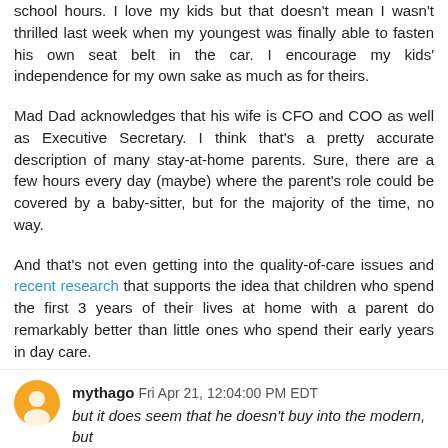school hours. I love my kids but that doesn't mean I wasn't thrilled last week when my youngest was finally able to fasten his own seat belt in the car. I encourage my kids' independence for my own sake as much as for theirs.
Mad Dad acknowledges that his wife is CFO and COO as well as Executive Secretary. I think that's a pretty accurate description of many stay-at-home parents. Sure, there are a few hours every day (maybe) where the parent's role could be covered by a baby-sitter, but for the majority of the time, no way.
And that's not even getting into the quality-of-care issues and recent research that supports the idea that children who spend the first 3 years of their lives at home with a parent do remarkably better than little ones who spend their early years in day care.
Reply
mythago  Fri Apr 21, 12:04:00 PM EDT
but it does seem that he doesn't buy into the modern, but